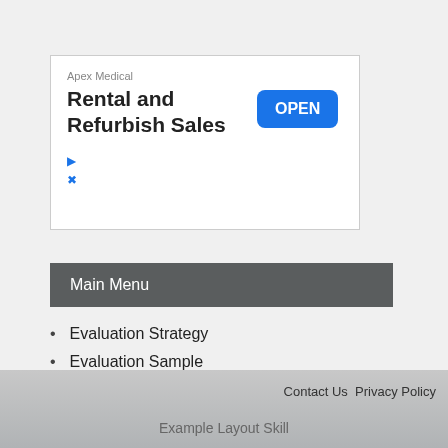[Figure (other): Advertisement banner for Apex Medical Rental and Refurbish Sales with an OPEN button]
Main Menu
Evaluation Strategy
Evaluation Sample
Template Download
Strategy
Contact Us  Privacy Policy
Example Layout Skill